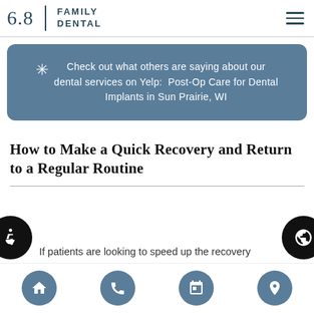608 Family Dental
[Figure (infographic): Yelp banner with star icon and text: Check out what others are saying about our dental services on Yelp: Post-Op Care for Dental Implants in Sun Prairie, WI]
How to Make a Quick Recovery and Return to a Regular Routine
If patients are looking to speed up the recovery